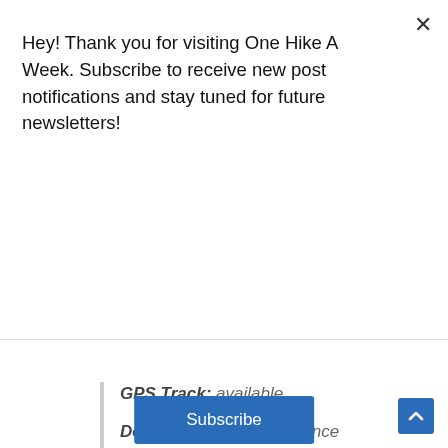Hey! Thank you for visiting One Hike A Week. Subscribe to receive new post notifications and stay tuned for future newsletters!
Subscribe
GPS Track: available
Dog-Friendly: with guidance